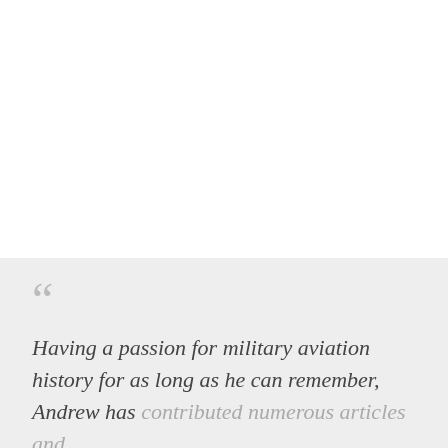Having a passion for military aviation history for as long as he can remember, Andrew has contributed numerous articles and